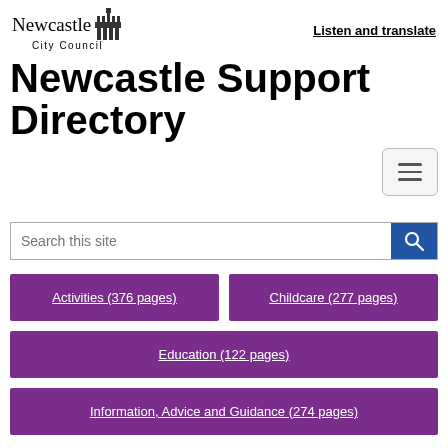Newcastle City Council | Listen and translate
Newcastle Support Directory
Search this site
Activities (376 pages)
Childcare (277 pages)
Education (122 pages)
Information, Advice and Guidance (274 pages)